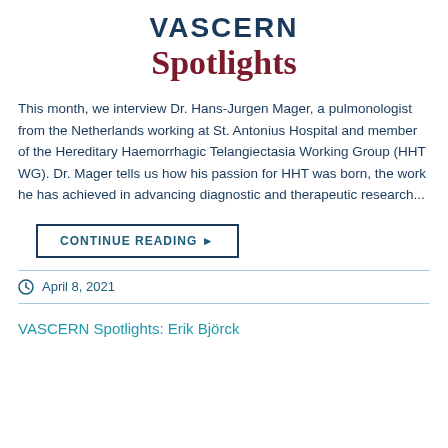VASCERN Spotlights
This month, we interview Dr. Hans-Jurgen Mager, a pulmonologist from the Netherlands working at St. Antonius Hospital and member of the Hereditary Haemorrhagic Telangiectasia Working Group (HHT WG). Dr. Mager tells us how his passion for HHT was born, the work he has achieved in advancing diagnostic and therapeutic research...
CONTINUE READING ▶
April 8, 2021
VASCERN Spotlights: Erik Björck